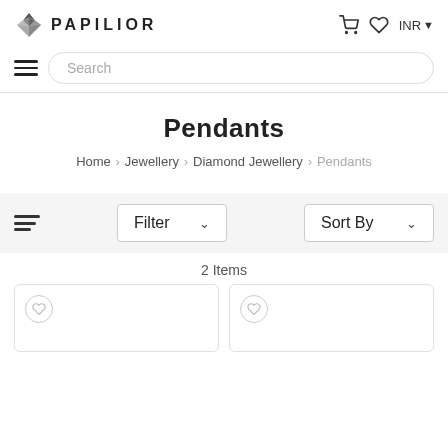PAPILIOR — header with logo, cart, wishlist, INR currency selector
Search
Pendants
Home > Jewellery > Diamond Jewellery > Pendants
Filter   Sort By
2 Items
[Figure (screenshot): Two product cards with wishlist (heart) icons, empty product images]